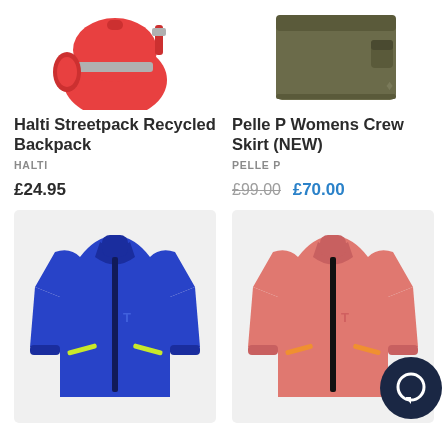[Figure (photo): Red/coral Halti recycled backpack, partially cropped at top]
Halti Streetpack Recycled Backpack
HALTI
£24.95
[Figure (photo): Olive/khaki Pelle P women's crew skirt, partially cropped at top]
Pelle P Womens Crew Skirt (NEW)
PELLE P
£99.00 £70.00
[Figure (photo): Blue men's zip-up jacket with yellow zip pocket details, Pelle P logo, full product shot on light gray background]
[Figure (photo): Salmon/coral women's zip-up jacket, Pelle P logo, full product shot on light gray background, with dark circular chat widget overlaid bottom right]